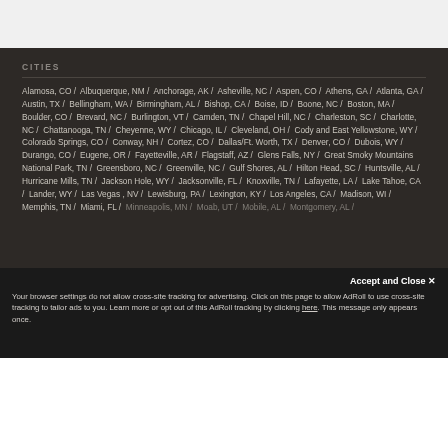CITIES
Alamosa, CO / Albuquerque, NM / Anchorage, AK / Asheville, NC / Aspen, CO / Athens, GA / Atlanta, GA / Austin, TX / Bellingham, WA / Birmingham, AL / Bishop, CA / Boise, ID / Boone, NC / Boston, MA / Boulder, CO / Brevard, NC / Burlington, VT / Camden, TN / Chapel Hill, NC / Charleston, SC / Charlotte, NC / Chattanooga, TN / Cheyenne, WY / Chicago, IL / Cleveland, OH / Cody and East Yellowstone, WY / Colorado Springs, CO / Conway, NH / Cortez, CO / Dallas/Ft. Worth, TX / Denver, CO / Dubois, WY / Durango, CO / Eugene, OR / Fayetteville, AR / Flagstaff, AZ / Glens Falls, NY / Great Smoky Mountains National Park, TN / Greensboro, NC / Greenville, NC / Gulf Shores, AL / Hilton Head, SC / Huntsville, AL / Hurricane Mills, TN / Jackson Hole, WY / Jacksonville, FL / Knoxville, TN / Lafayette, LA / Lake Tahoe, CA / Lander, WY / Las Vegas , NV / Lewisburg, PA / Lexington, KY / Los Angeles, CA / Madison, WI / Memphis, TN / Miami, FL / Minneapolis, MN / Moab, UT / Mobile, AL / Montgomery, AL / Nashville, TN / New Haven, CT / New Johnsonville, TN /
Accept and Close ✕
Your browser settings do not allow cross-site tracking for advertising. Click on this page to allow AdRoll to use cross-site tracking to tailor ads to you. Learn more or opt out of this AdRoll tracking by clicking here. This message only appears once.